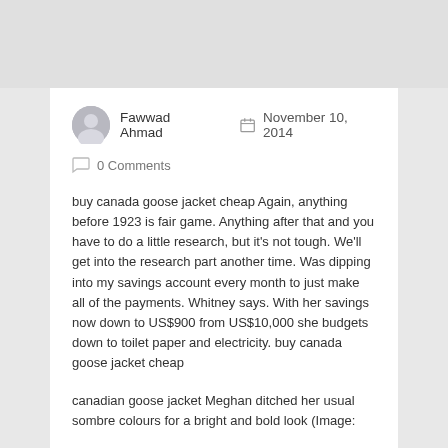Fawwad Ahmad   November 10, 2014
0 Comments
buy canada goose jacket cheap Again, anything before 1923 is fair game. Anything after that and you have to do a little research, but it's not tough. We'll get into the research part another time. Was dipping into my savings account every month to just make all of the payments. Whitney says. With her savings now down to US$900 from US$10,000 she budgets down to toilet paper and electricity. buy canada goose jacket cheap
canadian goose jacket Meghan ditched her usual sombre colours for a bright and bold look (Image: